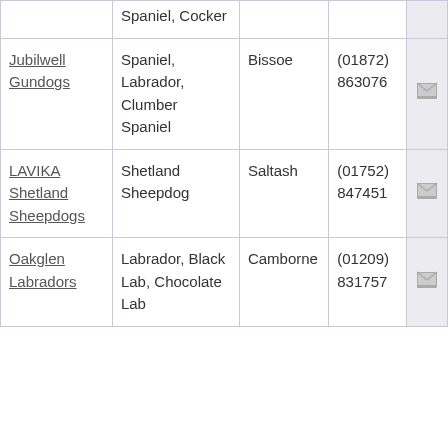| Kennel | Breeds | Town | Phone | Contact |
| --- | --- | --- | --- | --- |
| Jubilwell Gundogs | Spaniel, Labrador, Clumber Spaniel | Bissoe | (01872) 863076 |  |
| LAVIKA Shetland Sheepdogs | Shetland Sheepdog | Saltash | (01752) 847451 |  |
| Oakglen Labradors | Labrador, Black Lab, Chocolate Lab | Camborne | (01209) 831757 |  |